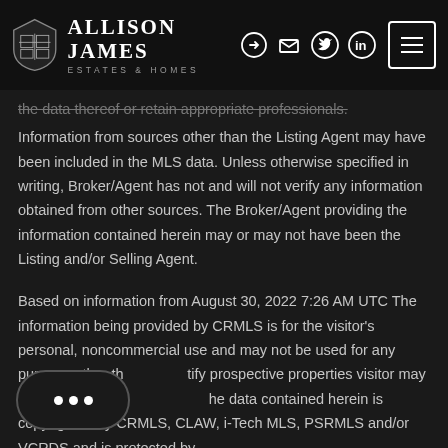Allison James Estates & Homes
the data thereof or retain appropriate professionals. Information from sources other than the Listing Agent may have been included in the MLS data. Unless otherwise specified in writing, Broker/Agent has not and will not verify any information obtained from other sources. The Broker/Agent providing the information contained herein may or may not have been the Listing and/or Selling Agent.
Based on information from August 30, 2022 7:26 AM UTC The information being provided by CRMLS is for the visitor's personal, noncommercial use and may not be used for any purpose other than to identify prospective properties visitor may be interested in purchasing. The data contained herein is copyrighted by CRMLS, CLAW, i-Tech MLS, PSRMLS and/or VCRDS and is protected by